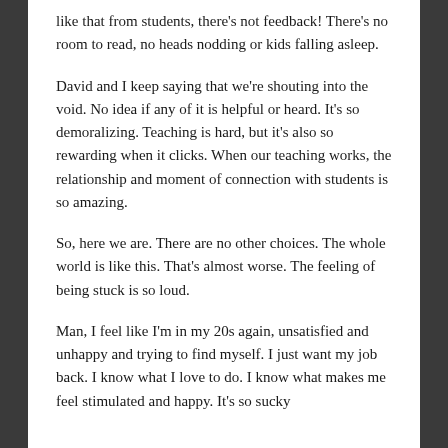like that from students, there's not feedback! There's no room to read, no heads nodding or kids falling asleep.
David and I keep saying that we're shouting into the void. No idea if any of it is helpful or heard. It's so demoralizing. Teaching is hard, but it's also so rewarding when it clicks. When our teaching works, the relationship and moment of connection with students is so amazing.
So, here we are. There are no other choices. The whole world is like this. That's almost worse. The feeling of being stuck is so loud.
Man, I feel like I'm in my 20s again, unsatisfied and unhappy and trying to find myself. I just want my job back. I know what I love to do. I know what makes me feel stimulated and happy. It's so sucky